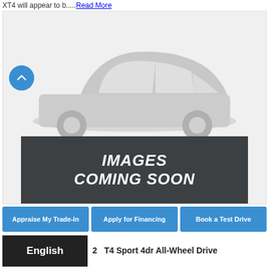XT4 will appear to b.....Read More
[Figure (photo): Placeholder car silhouette image with 'IMAGES COMING SOON' banner overlay on a light gray background. A blue circular navigation button with an up chevron is on the left side.]
Apply for Financing
Book a Test Drive
English
T4 Sport 4dr All-Wheel Drive